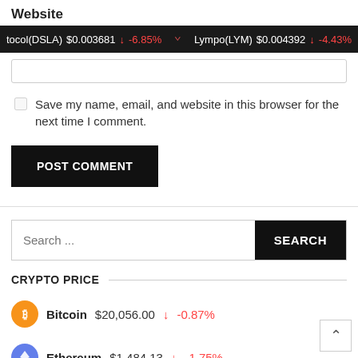Website
tocol(DSLA) $0.003681 ↓ -6.85%   Lympo(LYM) $0.004392 ↓ -4.43%
Save my name, email, and website in this browser for the next time I comment.
POST COMMENT
Search ...  SEARCH
CRYPTO PRICE
Bitcoin $20,056.00 ↓ -0.87%
Ethereum $1,484.13 ↓ -1.75%